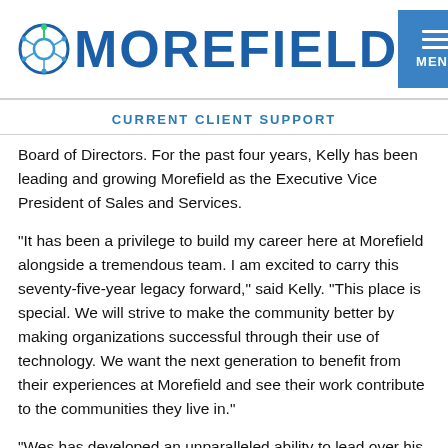[Figure (logo): Morefield company logo with circular icon and blue bold text reading MOREFIELD, alongside a blue MENU button with hamburger icon]
CURRENT CLIENT SUPPORT
Board of Directors. For the past four years, Kelly has been leading and growing Morefield as the Executive Vice President of Sales and Services.
“It has been a privilege to build my career here at Morefield alongside a tremendous team. I am excited to carry this seventy-five-year legacy forward,” said Kelly. “This place is special. We will strive to make the community better by making organizations successful through their use of technology. We want the next generation to benefit from their experiences at Morefield and see their work contribute to the communities they live in.”
“Wes has developed an unparalleled ability to lead over his 21-